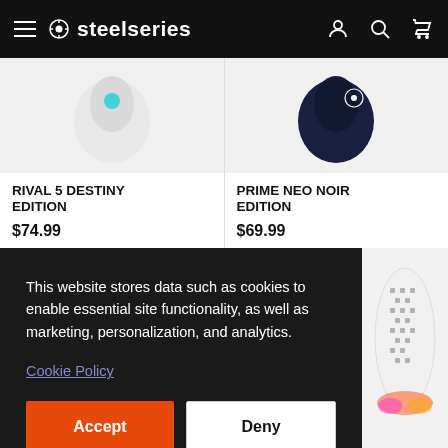steelseries
[Figure (photo): Rival 5 Destiny Edition gaming mouse product image, white/silver with blue heart logo]
[Figure (photo): Prime Neo Noir Edition gaming mouse product image, black with blue pattern]
RIVAL 5 DESTINY EDITION
$74.99
PRIME NEO NOIR EDITION
$69.99
This website stores data such as cookies to enable essential site functionality, as well as marketing, personalization, and analytics.
Cookie Policy
Accept
Deny
[Figure (photo): White honeycomb mesh gaming mouse with RGB lighting visible at bottom right]